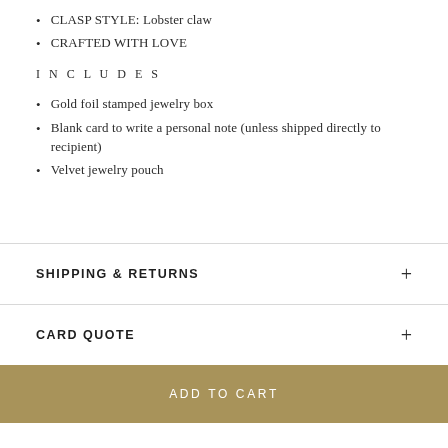CLASP STYLE: Lobster claw
CRAFTED WITH LOVE
INCLUDES
Gold foil stamped jewelry box
Blank card to write a personal note (unless shipped directly to recipient)
Velvet jewelry pouch
SHIPPING & RETURNS
CARD QUOTE
ADD TO CART